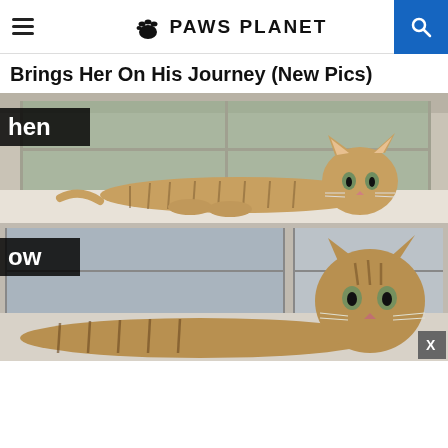PAWS PLANET
Brings Her On His Journey (New Pics)
[Figure (photo): Two photos of a tabby kitten/cat lying on a windowsill, looking at the camera. Top photo shows a small kitten lying stretched out on a white windowsill with a window behind it. Bottom photo shows the same or similar cat, now older, in a similar pose by the window. Both photos have partial text labels overlaid on the left side.]
hen
ow